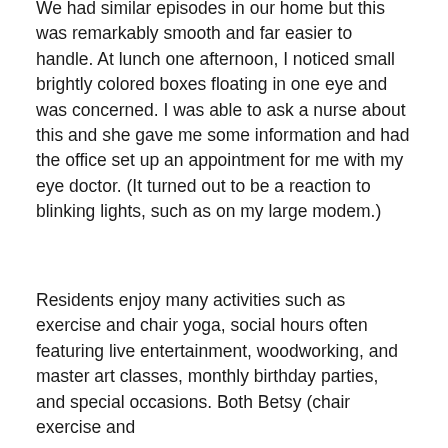We had similar episodes in our home but this was remarkably smooth and far easier to handle. At lunch one afternoon, I noticed small brightly colored boxes floating in one eye and was concerned. I was able to ask a nurse about this and she gave me some information and had the office set up an appointment for me with my eye doctor. (It turned out to be a reaction to blinking lights, such as on my large modem.)
Residents enjoy many activities such as exercise and chair yoga, social hours often featuring live entertainment, woodworking, and master art classes, monthly birthday parties, and special occasions. Both Betsy (chair exercise and